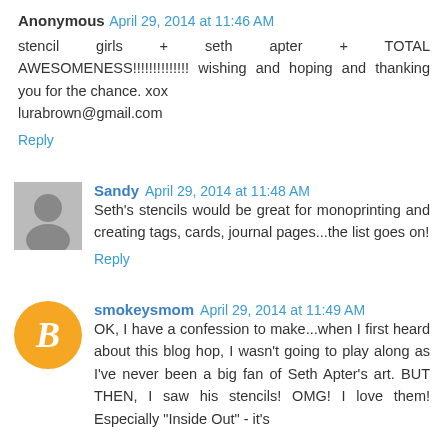Anonymous April 29, 2014 at 11:46 AM
stencil girls + seth apter + TOTAL AWESOMENESS!!!!!!!!!!!!!! wishing and hoping and thanking you for the chance. xox lurabrown@gmail.com
Reply
Sandy April 29, 2014 at 11:48 AM
Seth's stencils would be great for monoprinting and creating tags, cards, journal pages...the list goes on!
Reply
smokeysmom April 29, 2014 at 11:49 AM
OK, I have a confession to make...when I first heard about this blog hop, I wasn't going to play along as I've never been a big fan of Seth Apter's art. BUT THEN, I saw his stencils! OMG! I love them! Especially "Inside Out" - it's